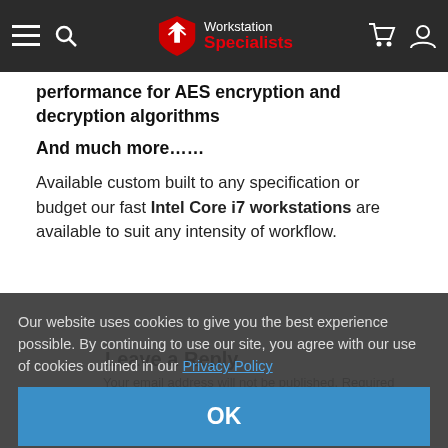Workstation Specialists — navigation header
performance for AES encryption and decryption algorithms
And much more……
Available custom built to any specification or budget our fast Intel Core i7 workstations are available to suit any intensity of workflow.
Leave a Reply
Your email address will not be published. Required fields are marked *
Our website uses cookies to give you the best experience possible. By continuing to use our site, you agree with our use of cookies outlined in our Privacy Policy
OK
Name *